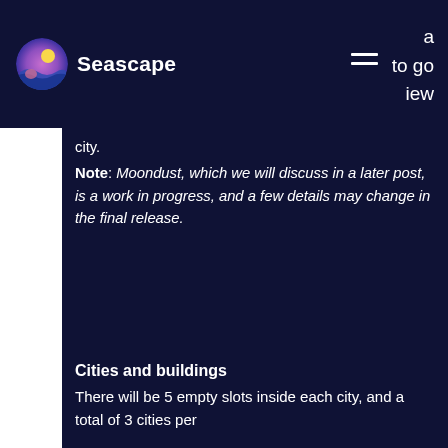Seascape
city.
Note: Moondust, which we will discuss in a later post, is a work in progress, and a few details may change in the final release.
[Figure (photo): Blurred pink/red game map or city view image showing dark shapes on a pink background, appears to be a top-down view of a game world.]
Cities and buildings
There will be 5 empty slots inside each city, and a total of 3 cities per